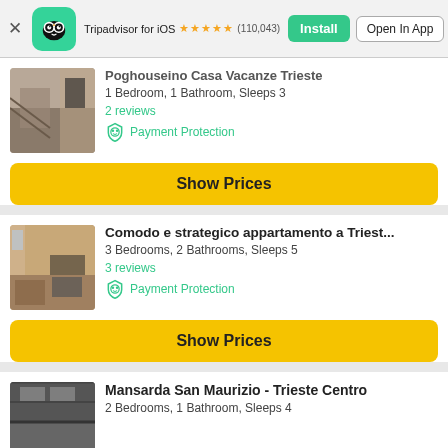[Figure (screenshot): Tripadvisor iOS app banner with owl logo, star rating 4.5 stars (110,043 reviews), Install and Open In App buttons]
Tripadvisor for iOS ★★★★½ (110,043)
Poghouseino Casa Vacanze Trieste
1 Bedroom, 1 Bathroom, Sleeps 3
2 reviews
Payment Protection
Show Prices
Comodo e strategico appartamento a Triest...
3 Bedrooms, 2 Bathrooms, Sleeps 5
3 reviews
Payment Protection
Show Prices
Mansarda San Maurizio - Trieste Centro
2 Bedrooms, 1 Bathroom, Sleeps 4